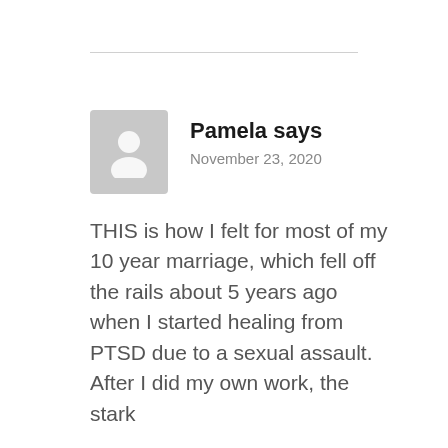Pamela says
November 23, 2020
THIS is how I felt for most of my 10 year marriage, which fell off the rails about 5 years ago when I started healing from PTSD due to a sexual assault. After I did my own work, the stark